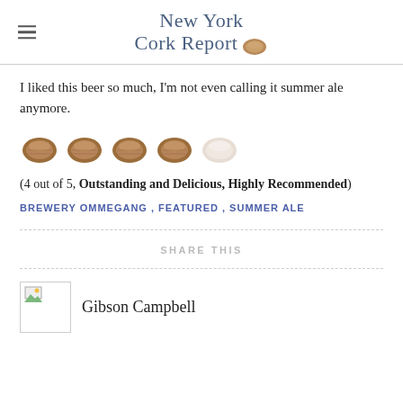New York Cork Report
I liked this beer so much, I'm not even calling it summer ale anymore.
[Figure (other): Five cork rating icons, four filled/colored and one empty/light, representing a 4 out of 5 rating]
(4 out of 5, Outstanding and Delicious, Highly Recommended)
BREWERY OMMEGANG, FEATURED, SUMMER ALE
SHARE THIS
Gibson Campbell